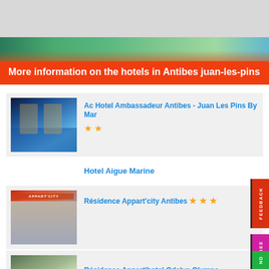[Figure (photo): Gray top banner area, partial view of palm trees and resort pool banner]
More information on the hotels in Antibes juan-les-pins
[Figure (photo): Hotel pool at night with blue water and palm trees - Ac Hotel Ambassadeur]
Ac Hotel Ambassadeur Antibes - Juan Les Pins By Mar
★★
Hotel Aigue Marine
[Figure (photo): Apparicity hotel building exterior with red and orange signage]
Résidence Appart'city Antibes ★★★
[Figure (photo): Hotel pool with lounge chairs and wooden deck]
Résidence Appart'hotel Odalys Olympe